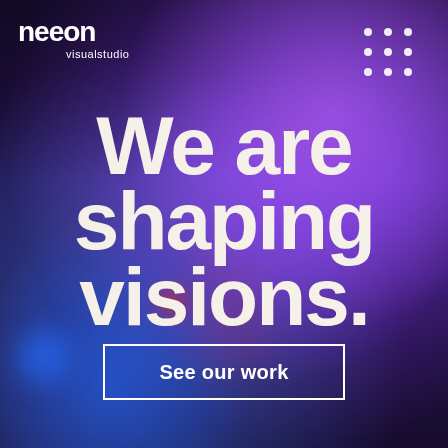[Figure (photo): Dark atmospheric background photo with purple and blue bokeh lighting, featuring a blurred human silhouette against dramatic colored lights]
neeon visualstudio
We are shaping visions.
See our work